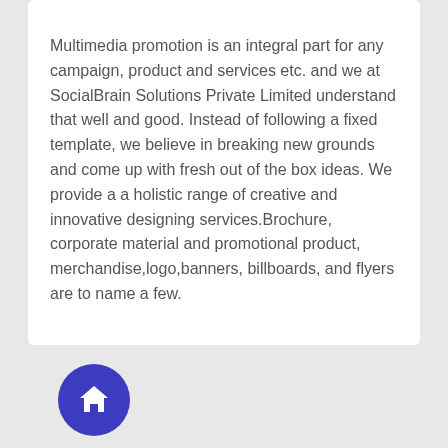Multimedia promotion is an integral part for any campaign, product and services etc. and we at SocialBrain Solutions Private Limited understand that well and good. Instead of following a fixed template, we believe in breaking new grounds and come up with fresh out of the box ideas. We provide a a holistic range of creative and innovative designing services.Brochure, corporate material and promotional product, merchandise,logo,banners, billboards, and flyers are to name a few.
[Figure (illustration): Blue circular home button icon with white house/home symbol in the center]